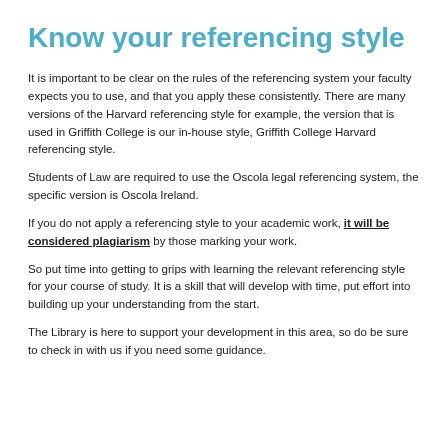Know your referencing style
It is important to be clear on the rules of the referencing system your faculty expects you to use, and that you apply these consistently. There are many versions of the Harvard referencing style for example, the version that is used in Griffith College is our in-house style, Griffith College Harvard referencing style.
Students of Law are required to use the Oscola legal referencing system, the specific version is Oscola Ireland.
If you do not apply a referencing style to your academic work, it will be considered plagiarism by those marking your work.
So put time into getting to grips with learning the relevant referencing style for your course of study. It is a skill that will develop with time, put effort into building up your understanding from the start.
The Library is here to support your development in this area, so do be sure to check in with us if you need some guidance.